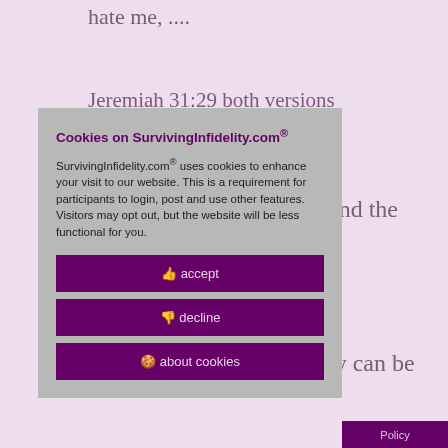hate me, ....
Jeremiah 31:29 both versions
and the
legacy can be
ns and
und mothers
ight process in
age. I also
can be broken
.
tation and
different
Cookies on SurvivingInfidelity.com®
SurvivingInfidelity.com® uses cookies to enhance your visit to our website. This is a requirement for participants to login, post and use other features. Visitors may opt out, but the website will be less functional for you.
accept
decline
about cookies
Policy